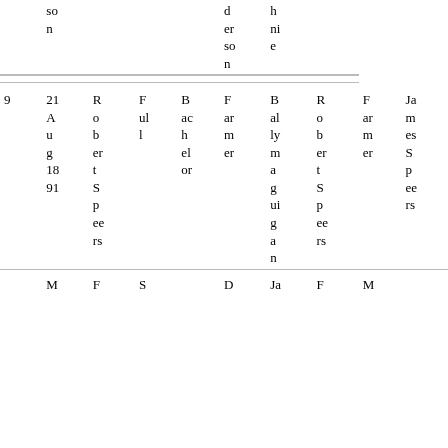|  | so
n |  |  |  | d
er
so
n | h
ni
e |  |
| 9 | 21
A
u
g
18
91 | R
o
b
er
t
S
p
ee
rs | F
ul
l | B
ac
h
el
or | F
ar
m
er | B
al
ly
m
a
g
ui
g
a
n | R
o
b
er
t
S
p
ee
rs | F
ar
m
er | Ja
m
es
S
p
ee
rs |
|  | M | F | S |  | D | Ja | F | M |